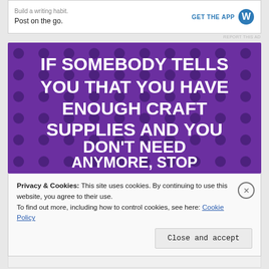[Figure (screenshot): WordPress ad banner with 'Build a writing habit. Post on the go.' text and GET THE APP button with WordPress logo]
[Figure (illustration): Purple polka-dot background image with white bold text reading: IF SOMEBODY TELLS YOU THAT YOU HAVE ENOUGH CRAFT SUPPLIES AND YOU DON'T NEED ANYMORE, STOP TALKING TO THEM.]
Privacy & Cookies: This site uses cookies. By continuing to use this website, you agree to their use.
To find out more, including how to control cookies, see here: Cookie Policy
Close and accept